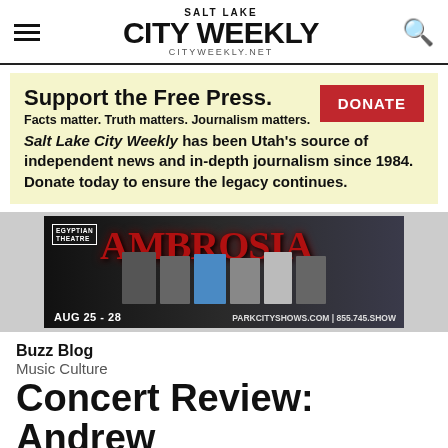SALT LAKE CITY WEEKLY CITYWEEKLY.NET
Support the Free Press. Facts matter. Truth matters. Journalism matters. Salt Lake City Weekly has been Utah's source of independent news and in-depth journalism since 1984. Donate today to ensure the legacy continues. DONATE
[Figure (photo): Advertisement for Ambrosia concert at Egyptian Theatre, Aug 25-28, parkcityshows.com, 855.745.SHOW]
Buzz Blog
Music Culture
Concert Review: Andrew